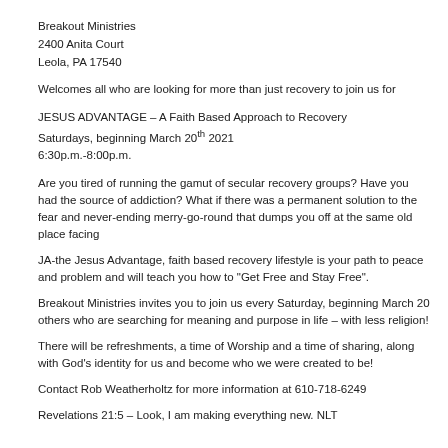Breakout Ministries
2400 Anita Court
Leola, PA 17540
Welcomes all who are looking for more than just recovery to join us for
JESUS ADVANTAGE – A Faith Based Approach to Recovery
Saturdays, beginning March 20th 2021
6:30p.m.-8:00p.m.
Are you tired of running the gamut of secular recovery groups? Have you had the source of addiction? What if there was a permanent solution to the fear and never-ending merry-go-round that dumps you off at the same old place facing
JA-the Jesus Advantage, faith based recovery lifestyle is your path to peace and problem and will teach you how to “Get Free and Stay Free”.
Breakout Ministries invites you to join us every Saturday, beginning March 20 others who are searching for meaning and purpose in life – with less religion!
There will be refreshments, a time of Worship and a time of sharing, along with God’s identity for us and become who we were created to be!
Contact Rob Weatherholtz for more information at 610-718-6249
Revelations 21:5 – Look, I am making everything new. NLT